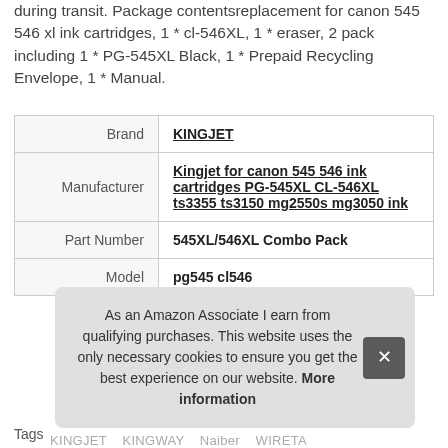during transit. Package contentsreplacement for canon 545 546 xl ink cartridges, 1 * cl-546XL, 1 * eraser, 2 pack including 1 * PG-545XL Black, 1 * Prepaid Recycling Envelope, 1 * Manual.
|  |  |
| --- | --- |
| Brand | KINGJET |
| Manufacturer | Kingjet for canon 545 546 ink cartridges PG-545XL CL-546XL ts3355 ts3150 mg2550s mg3050 ink |
| Part Number | 545XL/546XL Combo Pack |
| Model | pg545 cl546 |
As an Amazon Associate I earn from qualifying purchases. This website uses the only necessary cookies to ensure you get the best experience on our website. More information
Tags:
KINGJET    KINGWAY    Naiber    WIRETA